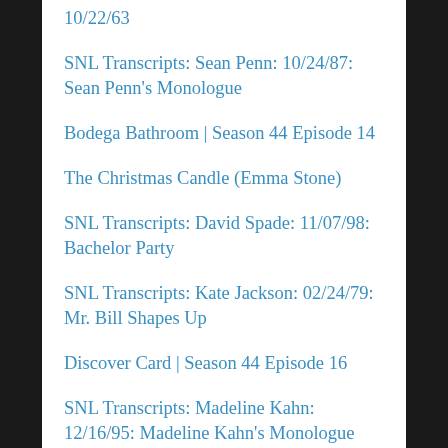10/22/63
SNL Transcripts: Sean Penn: 10/24/87: Sean Penn's Monologue
Bodega Bathroom | Season 44 Episode 14
The Christmas Candle (Emma Stone)
SNL Transcripts: David Spade: 11/07/98: Bachelor Party
SNL Transcripts: Kate Jackson: 02/24/79: Mr. Bill Shapes Up
Discover Card | Season 44 Episode 16
SNL Transcripts: Madeline Kahn: 12/16/95: Madeline Kahn's Monologue